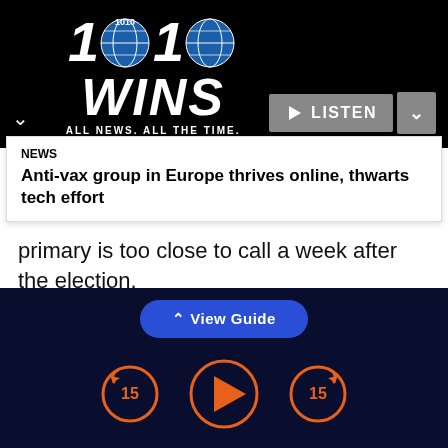[Figure (logo): 1010 WINS radio logo with globe icons. Text: '1010 WINS ALL NEWS. ALL THE TIME.' with LISTEN button and navigation chevrons on black background.]
NEWS
Anti-vax group in Europe thrives online, thwarts tech effort
primary is too close to call a week after the election.
Still, the totality of Tuesday's contests underscored the sustained power of Trumpism in Republican politics 18 months after he was voted out of office.
[Figure (screenshot): View Guide button and audio player controls (skip back 15, play, skip forward 15) on dark navy background.]